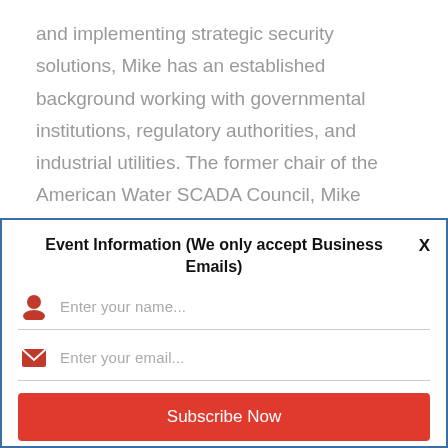and implementing strategic security solutions, Mike has an established background working with governmental institutions, regulatory authorities, and industrial utilities. The former chair of the American Water SCADA Council, Mike studied Computer Science, Chemical Engineering, and Mathematics at the University of Pennsylvania, and has served as a speaker and panelist
Event Information (We only accept Business Emails)
Enter your name...
Enter your email...
Subscribe Now